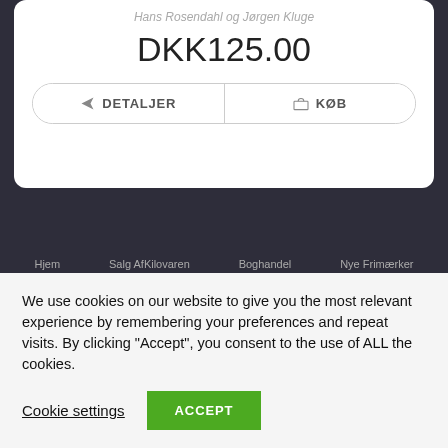Hans Rosendahl og Jørgen Kluge
DKK125.00
DETALJER
KØB
Hjem   Salg AfKilovaren   Boghandel   Nye Frimærker
We use cookies on our website to give you the most relevant experience by remembering your preferences and repeat visits. By clicking "Accept", you consent to the use of ALL the cookies.
Cookie settings
ACCEPT